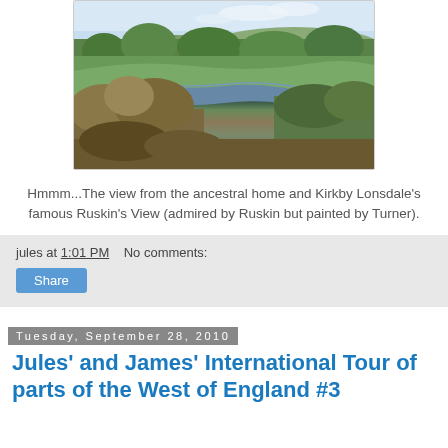[Figure (photo): Landscape photograph showing a river winding through green fields and trees, with hills in the background — Ruskin's View at Kirkby Lonsdale]
Hmmm...The view from the ancestral home and Kirkby Lonsdale's famous Ruskin's View (admired by Ruskin but painted by Turner).
jules at 1:01 PM    No comments:
Share
Tuesday, September 28, 2010
Jules' and James' International Tour of parts of the West of England #3